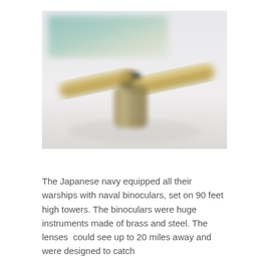[Figure (photo): A blurry close-up photograph of what appears to be large naval binoculars or a telescope instrument made of brass/gold-colored metal, set against a light/white background with a faint green and teal colored panel visible in the upper portion.]
The Japanese navy equipped all their warships with naval binoculars, set on 90 feet high towers. The binoculars were huge instruments made of brass and steel. The lenses  could see up to 20 miles away and were designed to catch